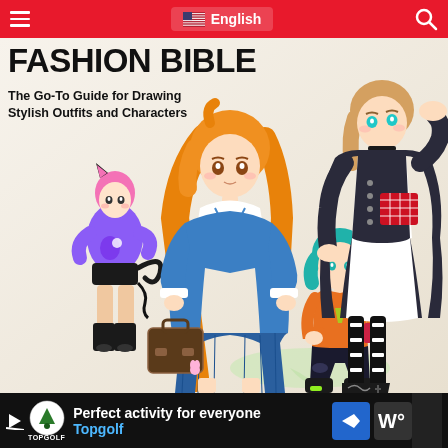≡  🇺🇸 English  🔍
[Figure (illustration): Book cover of 'Fashion Bible: The Go-To Guide for Drawing Stylish Outfits and Characters' featuring multiple anime-style characters in various fashionable outfits including a school uniform girl with orange hair holding a briefcase, a small girl in purple hoodie with cat ears, a teal-haired boy in orange top, and a tall girl in dark gothic outfit with long legs]
FASHION BIBLE
The Go-To Guide for Drawing Stylish Outfits and Characters
Perfect activity for everyone  Topgolf